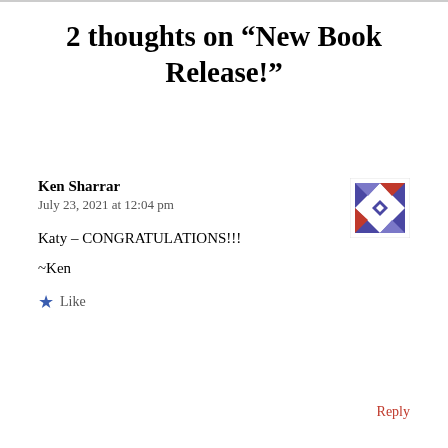2 thoughts on “New Book Release!”
Ken Sharrar
July 23, 2021 at 12:04 pm
[Figure (illustration): Decorative avatar icon with blue/purple geometric pattern on white background]
Katy – CONGRATULATIONS!!!
~Ken
★ Like
Reply